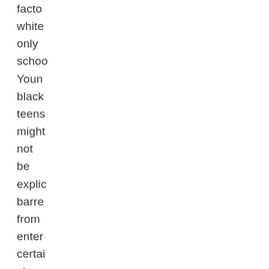facto white only schoo Youn black teens might not be explic barre from enter certai stores but they might be tailed by secur the